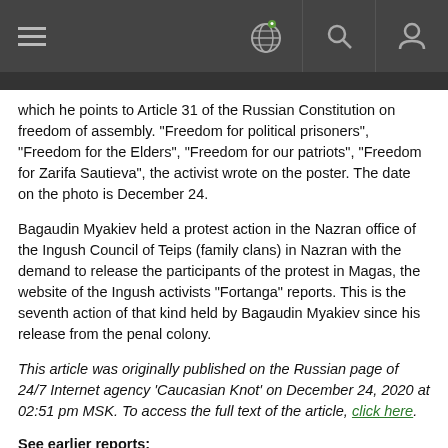[Navigation bar with hamburger menu, globe icon, search icon, user icon]
which he points to Article 31 of the Russian Constitution on freedom of assembly. "Freedom for political prisoners", "Freedom for the Elders", "Freedom for our patriots", "Freedom for Zarifa Sautieva", the activist wrote on the poster. The date on the photo is December 24.
Bagaudin Myakiev held a protest action in the Nazran office of the Ingush Council of Teips (family clans) in Nazran with the demand to release the participants of the protest in Magas, the website of the Ingush activists "Fortanga" reports. This is the seventh action of that kind held by Bagaudin Myakiev since his release from the penal colony.
This article was originally published on the Russian page of 24/7 Internet agency 'Caucasian Knot' on December 24, 2020 at 02:51 pm MSK. To access the full text of the article, click here.
See earlier reports: